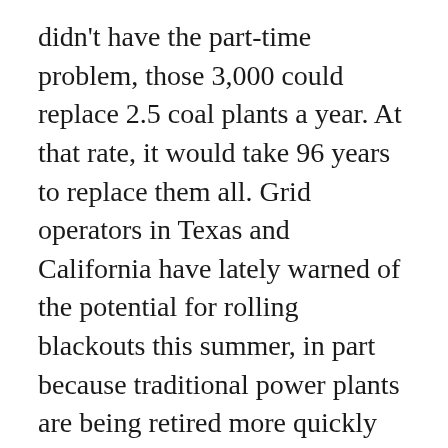didn't have the part-time problem, those 3,000 could replace 2.5 coal plants a year. At that rate, it would take 96 years to replace them all. Grid operators in Texas and California have lately warned of the potential for rolling blackouts this summer, in part because traditional power plants are being retired more quickly than they can be replaced by renewable energy.
Recently, India has ordered the reopening of more than 100 dormant coal mines to meet skyrocketing domestic power demand. This will